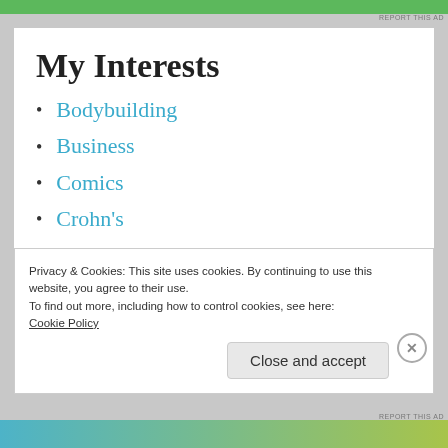My Interests
Bodybuilding
Business
Comics
Crohn's
Decluttering
Fitness
Privacy & Cookies: This site uses cookies. By continuing to use this website, you agree to their use.
To find out more, including how to control cookies, see here:
Cookie Policy
Close and accept